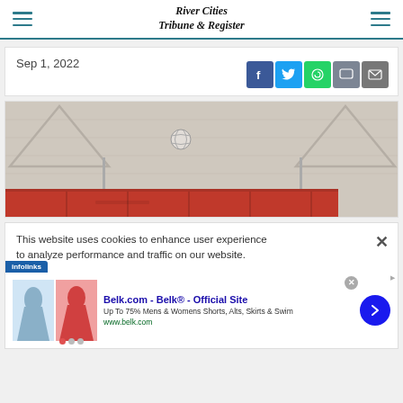River Cities Tribune & Register
Sep 1, 2022
[Figure (photo): Volleyball net and red padding/mat at the base, volleyball visible in upper center area]
This website uses cookies to enhance user experience to analyze performance and traffic on our website.
[Figure (other): Advertisement: Belk.com - Belk® - Official Site. Up To 75% Mens & Womens Shorts, Alts, Skirts & Swim. www.belk.com]